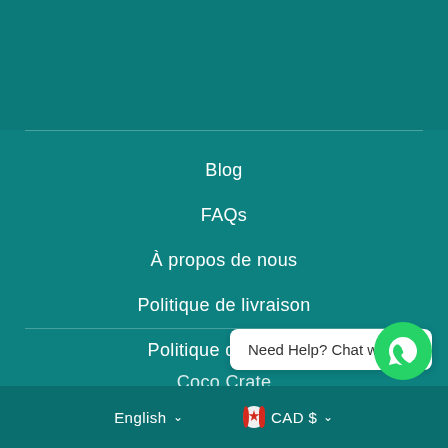Blog
FAQs
À propos de nous
Politique de livraison
Politique de retour
Coco Crate
Need Help? Chat with us
English ∨   🇨🇦 CAD $ ∨